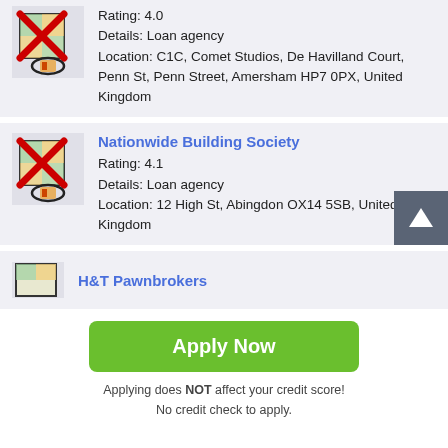[Figure (screenshot): Map icon with red X overlay and circled marker for first listing]
Rating: 4.0
Details: Loan agency
Location: C1C, Comet Studios, De Havilland Court, Penn St, Penn Street, Amersham HP7 0PX, United Kingdom
[Figure (screenshot): Map icon with red X overlay and circled marker for Nationwide Building Society]
Nationwide Building Society
Rating: 4.1
Details: Loan agency
Location: 12 High St, Abingdon OX14 5SB, United Kingdom
[Figure (screenshot): Partial map icon for H&T Pawnbrokers]
H&T Pawnbrokers
[Figure (other): Apply Now green button]
Applying does NOT affect your credit score!
No credit check to apply.